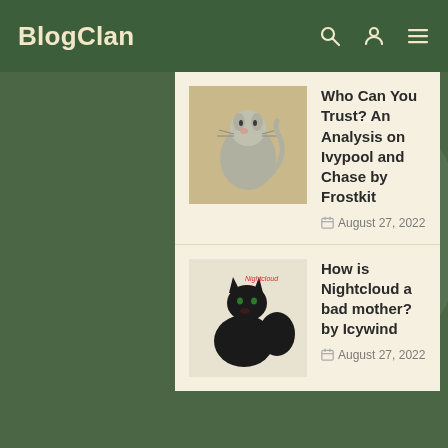BlogClan
[Figure (illustration): Thumbnail image of a drawn grey cat for the Ivypool article]
Who Can You Trust? An Analysis on Ivypool and Chase by Frostkit
August 27, 2022
[Figure (illustration): Thumbnail image of a drawn black cat (Nightcloud) for the article]
How is Nightcloud a bad mother? by Icywind
August 27, 2022
We use cookies to optimize our website and our service.
All cookies
Functional only